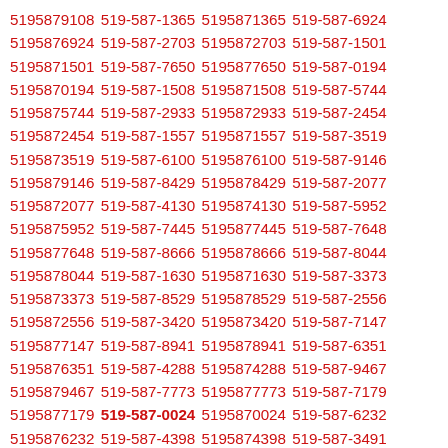5195879108 519-587-1365 5195871365 519-587-6924 5195876924 519-587-2703 5195872703 519-587-1501 5195871501 519-587-7650 5195877650 519-587-0194 5195870194 519-587-1508 5195871508 519-587-5744 5195875744 519-587-2933 5195872933 519-587-2454 5195872454 519-587-1557 5195871557 519-587-3519 5195873519 519-587-6100 5195876100 519-587-9146 5195879146 519-587-8429 5195878429 519-587-2077 5195872077 519-587-4130 5195874130 519-587-5952 5195875952 519-587-7445 5195877445 519-587-7648 5195877648 519-587-8666 5195878666 519-587-8044 5195878044 519-587-1630 5195871630 519-587-3373 5195873373 519-587-8529 5195878529 519-587-2556 5195872556 519-587-3420 5195873420 519-587-7147 5195877147 519-587-8941 5195878941 519-587-6351 5195876351 519-587-4288 5195874288 519-587-9467 5195879467 519-587-7773 5195877773 519-587-7179 5195877179 519-587-0024 5195870024 519-587-6232 5195876232 519-587-4398 5195874398 519-587-3491 5195873491 519-587-4918 5195874918 519-587-2567 5195872567 519-587-8178 5195878178 519-587-3948 5195873948 519-587-9927 5195879927 519-587-4129 5195874129 519-587-8088 5195878088 519-587-8413 5195878413 519-587-1452 5195871452 519-587-4648 5195874648 519-587-7259 5195877259 519-587-2904